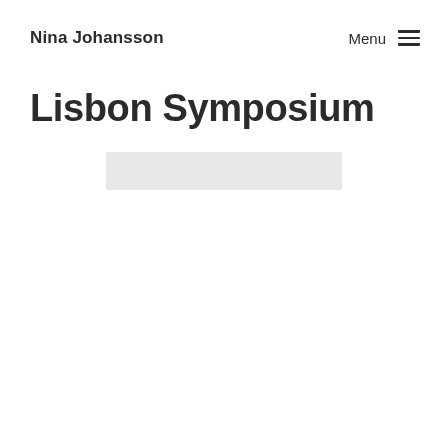Nina Johansson   Menu
Lisbon Symposium
[Figure (other): Light grey rectangular placeholder image block]